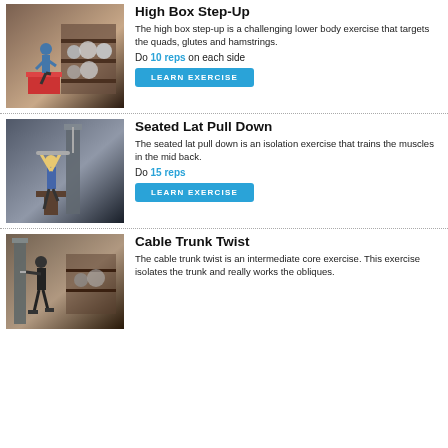[Figure (photo): Person stepping up onto a high box in a gym with exercise balls on shelves in the background.]
High Box Step-Up
The high box step-up is a challenging lower body exercise that targets the quads, glutes and hamstrings.
Do 10 reps on each side
LEARN EXERCISE
[Figure (photo): Person performing seated lat pull down on a cable machine in a gym.]
Seated Lat Pull Down
The seated lat pull down is an isolation exercise that trains the muscles in the mid back.
Do 15 reps
LEARN EXERCISE
[Figure (photo): Person performing cable trunk twist on a cable machine in a gym.]
Cable Trunk Twist
The cable trunk twist is an intermediate core exercise. This exercise isolates the trunk and really works the obliques.